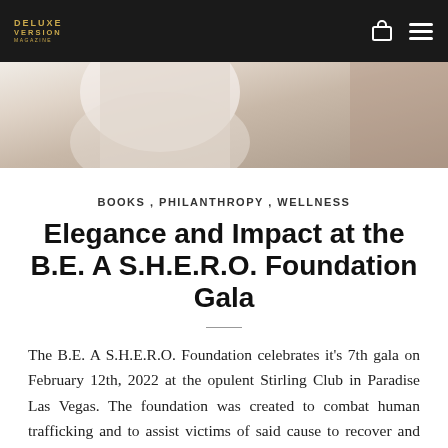DELUXE VERSION
[Figure (photo): Hero image showing a person in a white garment against a blurred background]
BOOKS , PHILANTHROPY , WELLNESS
Elegance and Impact at the B.E. A S.H.E.R.O. Foundation Gala
The B.E. A S.H.E.R.O. Foundation celebrates it's 7th gala on February 12th, 2022 at the opulent Stirling Club in Paradise Las Vegas. The foundation was created to combat human trafficking and to assist victims of said cause to recover and obtain the resources available to them in order to lead safe and stable lives. As a guest at the black tie event, one can expect entertainment,